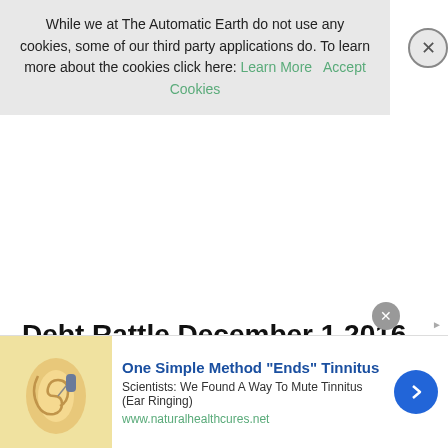While we at The Automatic Earth do not use any cookies, some of our third party applications do. To learn more about the cookies click here: Learn More   Accept Cookies
Debt Rattle December 1 2016
December 1, 2016
Posted by Raúl Ilargi Meijer at 10:40 am
[Figure (other): Advertisement banner: One Simple Method 'Ends' Tinnitus. Scientists: We Found A Way To Mute Tinnitus (Ear Ringing). www.naturalhealthcures.net. Shows an illustration of an ear with a hearing device.]